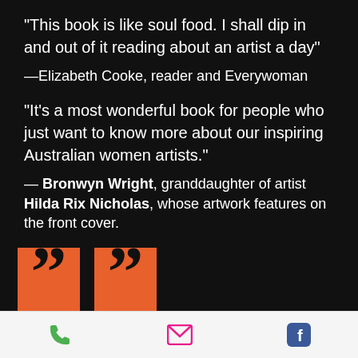"This book is like soul food. I shall dip in and out of it reading about an artist a day"
—Elizabeth Cooke, reader and Everywoman
"It's a most wonderful book for people who just want to know more about our inspiring Australian women artists."
— Bronwyn Wright, granddaughter of artist Hilda Rix Nicholas, whose artwork features on the front cover.
[Figure (illustration): Two large orange closing quotation marks on black background]
[Figure (infographic): Footer bar with phone icon (green), email icon (pink/red), and Facebook icon (blue) on light grey background]